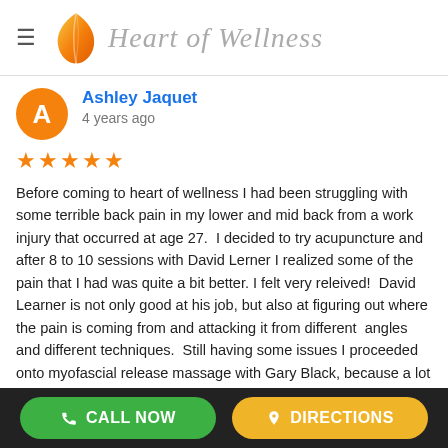Heart of Wellness
Ashley Jaquet
4 years ago
Before coming to heart of wellness I had been struggling with some terrible back pain in my lower and mid back from a work injury that occurred at age 27. I decided to try acupuncture and after 8 to 10 sessions with David Lerner I realized some of the pain that I had was quite a bit better. I felt very releived! David Learner is not only good at his job, but also at figuring out where the pain is coming from and attacking it from different angles and different techniques. Still having some issues I proceeded onto myofascial release massage with Gary Black, because a lot of my pain is muscular this type of massage was helpful. I highly recommend not only these two, but the clinic itself.
CALL NOW    DIRECTIONS